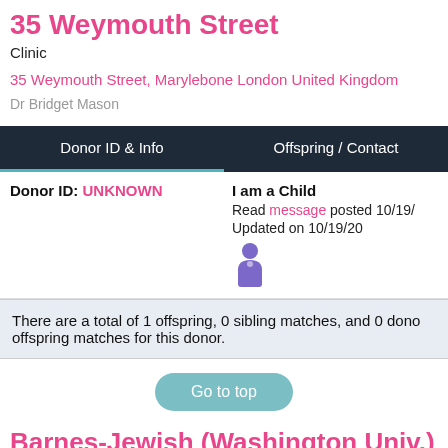35 Weymouth Street
Clinic
35 Weymouth Street, Marylebone London United Kingdom
Dr Bridget Mason
| Donor ID & Info | Offspring / Contact |
| --- | --- |
| Donor ID: UNKNOWN | I am a Child
Read message posted 10/19/
Updated on 10/19/20 |
There are a total of 1 offspring, 0 sibling matches, and 0 dono offspring matches for this donor.
Go to top
Barnes-Jewish (Washington Univ.)